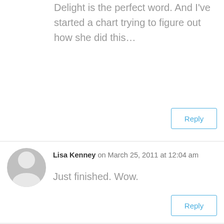Delight is the perfect word. And I've started a chart trying to figure out how she did this...
Reply
Lisa Kenney on March 25, 2011 at 12:04 am
Just finished. Wow.
Reply
cynthia on March 25, 2011 at 7:39 am
Yep. Wow.
Reply